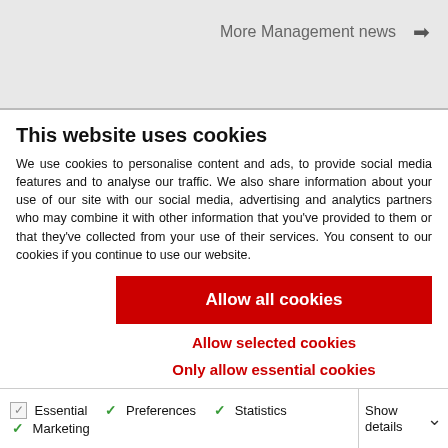More Management news →
This website uses cookies
We use cookies to personalise content and ads, to provide social media features and to analyse our traffic. We also share information about your use of our site with our social media, advertising and analytics partners who may combine it with other information that you've provided to them or that they've collected from your use of their services. You consent to our cookies if you continue to use our website.
Allow all cookies
Allow selected cookies
Only allow essential cookies
Essential  Preferences  Statistics  Marketing  Show details